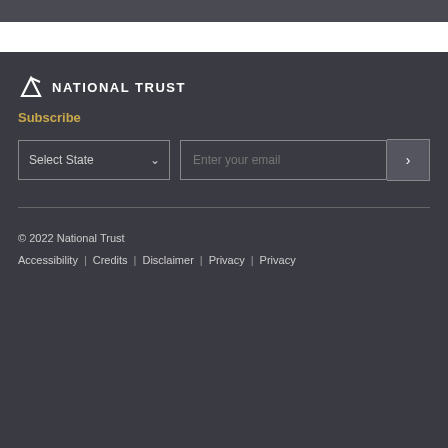[Figure (logo): National Trust logo with arrow icon and text]
Subscribe
Select State | Enter your email | Submit button
© 2022 National Trust
Accessibility | Credits | Disclaimer | Privacy | Privacy